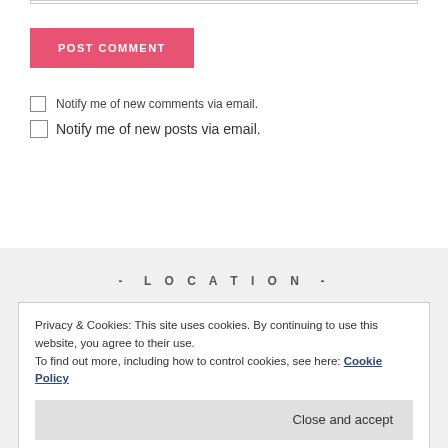[Figure (screenshot): Top border of a text input field]
POST COMMENT
Notify me of new comments via email.
Notify me of new posts via email.
- LOCATION -
Privacy & Cookies: This site uses cookies. By continuing to use this website, you agree to their use.
To find out more, including how to control cookies, see here: Cookie Policy
Close and accept